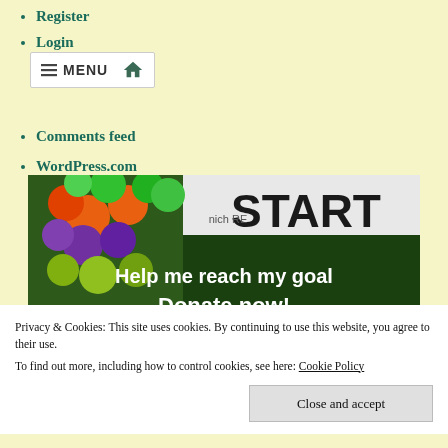Register
Login
[Figure (screenshot): Navigation menu bar with hamburger icon, MENU text, and home icon on light yellow background]
Comments feed
WordPress.com
[Figure (photo): Photo of a race/walk event START banner with colorful balloons, overlaid with text 'Help me reach my goal Donate now!']
Privacy & Cookies: This site uses cookies. By continuing to use this website, you agree to their use.
To find out more, including how to control cookies, see here: Cookie Policy
Close and accept